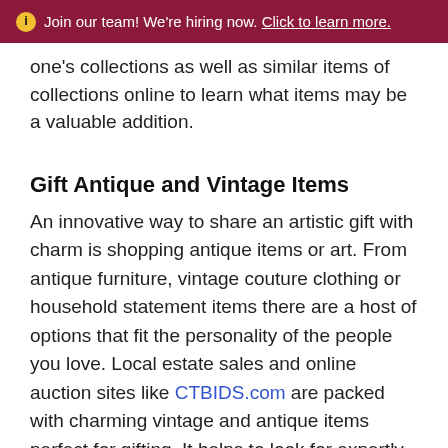Join our team! We're hiring now. Click to learn more.
one's collections as well as similar items of collections online to learn what items may be a valuable addition.
Gift Antique and Vintage Items
An innovative way to share an artistic gift with charm is shopping antique items or art. From antique furniture, vintage couture clothing or household statement items there are a host of options that fit the personality of the people you love. Local estate sales and online auction sites like CTBIDS.com are packed with charming vintage and antique items perfect for gifting. It helps to look for expertly crafted items that will withstand the test of time and continue to gain value. This may mean seeking out